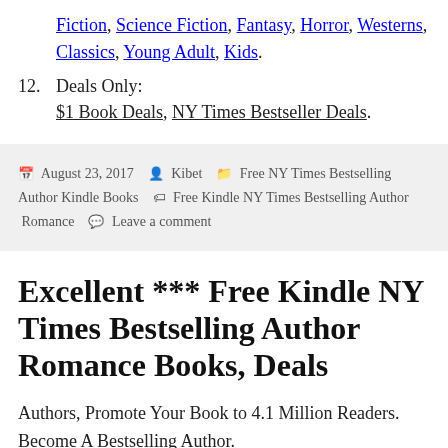Fiction, Science Fiction, Fantasy, Horror, Westerns, Classics, Young Adult, Kids.
12. Deals Only: $1 Book Deals, NY Times Bestseller Deals.
August 23, 2017  Kibet  Free NY Times Bestselling Author Kindle Books  Free Kindle NY Times Bestselling Author Romance  Leave a comment
Excellent *** Free Kindle NY Times Bestselling Author Romance Books, Deals
Authors, Promote Your Book to 4.1 Million Readers. Become A Bestselling Author. Save Money, Top 10 Deals, Top 10 Coupons, Target...